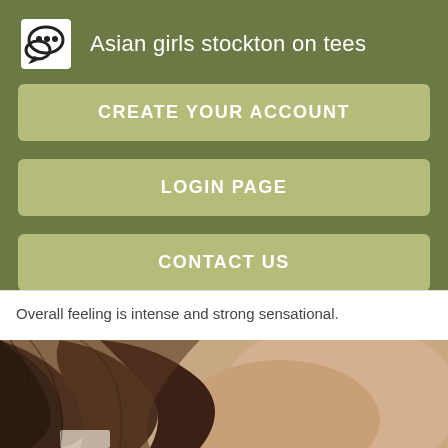Asian girls stockton on tees
CREATE YOUR ACCOUNT
LOGIN PAGE
CONTACT US
Overall feeling is intense and strong sensational.
[Figure (photo): Close-up photo of a woman's neck and shoulder area with dark hair, skin tone visible]